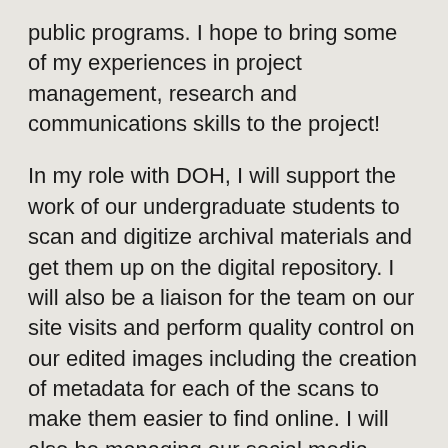public programs. I hope to bring some of my experiences in project management, research and communications skills to the project!
In my role with DOH, I will support the work of our undergraduate students to scan and digitize archival materials and get them up on the digital repository. I will also be a liaison for the team on our site visits and perform quality control on our edited images including the creation of metadata for each of the scans to make them easier to find online. I will also be managing our social media channels.
In information sciences, we have learned about the management of information and making it easier for people to discover and access what they are looking for so I look forward to applying what I have learned in the classroom to the DOH project. I am also looking forward to diving deeper into the history of